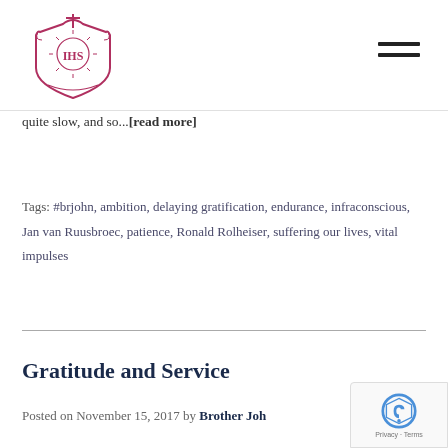Jesuit site logo and navigation menu
quite slow, and so...[read more]
Tags: #brjohn, ambition, delaying gratification, endurance, infraconscious, Jan van Ruusbroec, patience, Ronald Rolheiser, suffering our lives, vital impulses
Gratitude and Service
Posted on November 15, 2017 by Brother Joh...